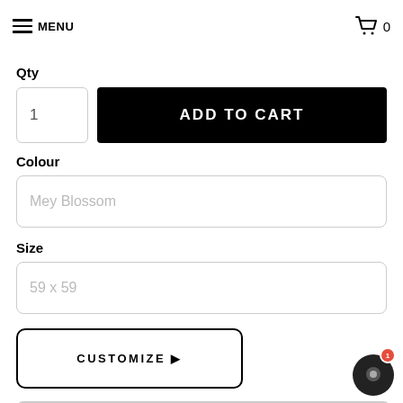MENU   0
Qty
1
ADD TO CART
Colour
Mey Blossom
Size
59 x 59
CUSTOMIZE ▶
APPLY FOR FINANCE
AVAILABILITY